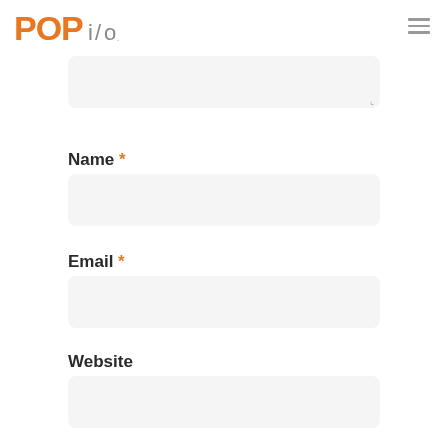[Figure (logo): POPi/o logo in orange and gray]
Name *
Email *
Website